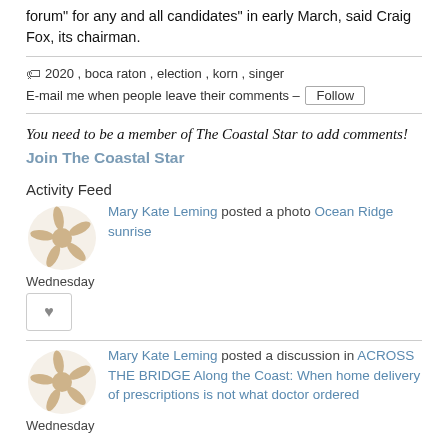forum” for any and all candidates” in early March, said Craig Fox, its chairman.
🏷 2020, boca raton, election, korn, singer
E-mail me when people leave their comments – Follow
You need to be a member of The Coastal Star to add comments!
Join The Coastal Star
Activity Feed
Mary Kate Leming posted a photo Ocean Ridge sunrise
Wednesday
Mary Kate Leming posted a discussion in ACROSS THE BRIDGE Along the Coast: When home delivery of prescriptions is not what doctor ordered
Wednesday